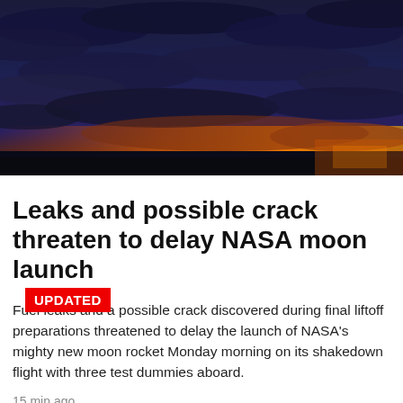[Figure (photo): Dramatic sunset sky with dark clouds and orange-red horizon glow, silhouettes of trees at bottom]
UPDATED
Leaks and possible crack threaten to delay NASA moon launch
Fuel leaks and a possible crack discovered during final liftoff preparations threatened to delay the launch of NASA's mighty new moon rocket Monday morning on its shakedown flight with three test dummies aboard.
15 min ago
'I kept it a secret': Former naval officer speaks out about sexual abuse and addiction